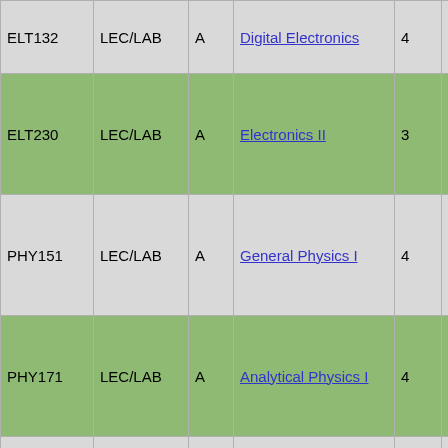| Course | Type | Sec | Title | Credits | Instructor |
| --- | --- | --- | --- | --- | --- |
| ELT132 | LEC/LAB | A | Digital Electronics | 4 | Young, Roger |
| ELT230 | LEC/LAB | A | Electronics II | 3 | Young, Roger |
| PHY151 | LEC/LAB | A | General Physics I | 4 | Young, Roger |
| PHY171 | LEC/LAB | A | Analytical Physics I | 4 | Young, Roger |
| ENG103 | LEC | B | English I | 3 | Youngs, Michael |